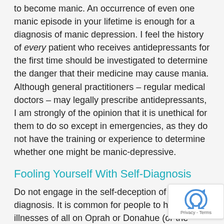to become manic. An occurrence of even one manic episode in your lifetime is enough for a diagnosis of manic depression. I feel the history of every patient who receives antidepressants for the first time should be investigated to determine the danger that their medicine may cause mania. Although general practitioners – regular medical doctors – may legally prescribe antidepressants, I am strongly of the opinion that it is unethical for them to do so except in emergencies, as they do not have the training or experience to determine whether one might be manic-depressive.
Fooling Yourself With Self-Diagnosis
Do not engage in the self-deception of self-diagnosis. It is common for people to hear about illnesses of all on Oprah or Donahue (or the Internet!) and to the themselves into thinking they share the diagnosis